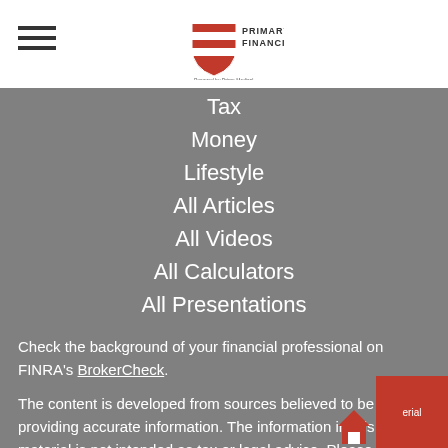Primary Financial logo header with hamburger menu
Tax
Money
Lifestyle
All Articles
All Videos
All Calculators
All Presentations
Check the background of your financial professional on FINRA's BrokerCheck.
The content is developed from sources believed to be providing accurate information. The information in this material is not intended as tax or legal advice. Please consult legal or tax professionals for specific information regarding your individual situation. Some of this material was developed and produced by FMG Suite to provide information on a topic that may be of interest. FMG Su...